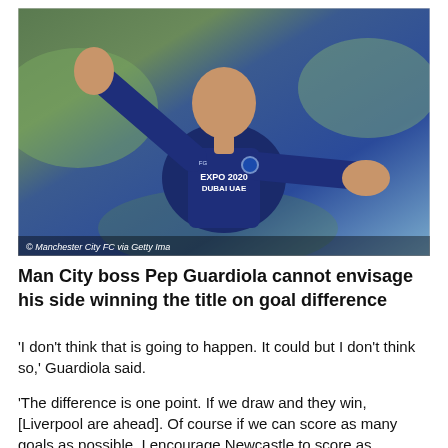[Figure (photo): Pep Guardiola, Manchester City manager, wearing a navy blue PUMA training jacket with EXPO 2020 Dubai UAE sponsor logo and Manchester City badge, gesturing with both arms outstretched on a training pitch]
© Manchester City FC via Getty Ima
Man City boss Pep Guardiola cannot envisage his side winning the title on goal difference
'I don't think that is going to happen. It could but I don't think so,' Guardiola said.
'The difference is one point. If we draw and they win, [Liverpool are ahead]. Of course if we can score as many goals as possible, I encourage Newcastle to score as